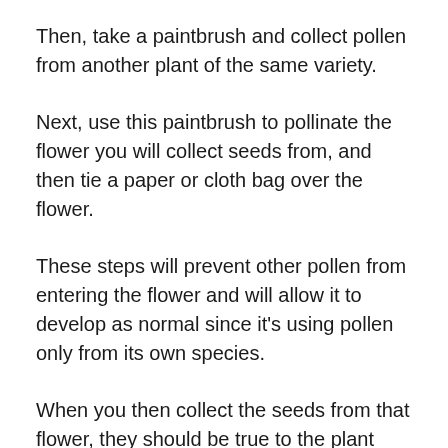Then, take a paintbrush and collect pollen from another plant of the same variety.
Next, use this paintbrush to pollinate the flower you will collect seeds from, and then tie a paper or cloth bag over the flower.
These steps will prevent other pollen from entering the flower and will allow it to develop as normal since it’s using pollen only from its own species.
When you then collect the seeds from that flower, they should be true to the plant because you have ensured they pollinate